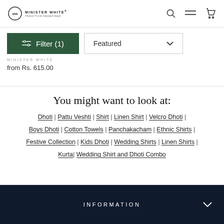MINISTER WHITE® — navigation header with search, menu, and cart icons
Filter (1) | Featured
MINISTER WHITE
from Rs. 615.00
You might want to look at:
Dhoti | Pattu Veshti | Shirt | Linen Shirt | Velcro Dhoti | Boys Dhoti | Cotton Towels | Panchakacham | Ethnic Shirts | Festive Collection | Kids Dhoti | Wedding Shirts | Linen Shirts | Kurta | Wedding Shirt and Dhoti Combo
INFORMATION